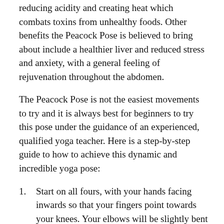reducing acidity and creating heat which combats toxins from unhealthy foods. Other benefits the Peacock Pose is believed to bring about include a healthier liver and reduced stress and anxiety, with a general feeling of rejuvenation throughout the abdomen.
The Peacock Pose is not the easiest movements to try and it is always best for beginners to try this pose under the guidance of an experienced, qualified yoga teacher. Here is a step-by-step guide to how to achieve this dynamic and incredible yoga pose:
Start on all fours, with your hands facing inwards so that your fingers point towards your knees. Your elbows will be slightly bent but make sure they don't bow or that your hands don't splay out to the side. Your feet should be pointing straight back too.
Bring your elbows in so that they touch your torso so that there is a tucked-in feeling where you are effectively